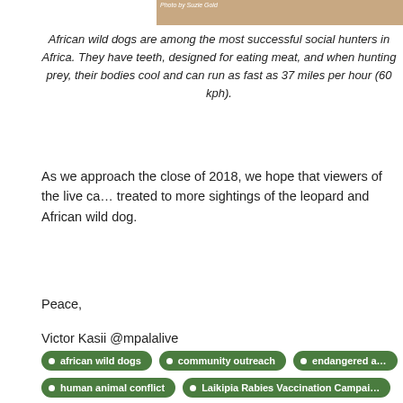[Figure (photo): Partial photo of an African wild dog, cropped at top of page with photo credit 'Photo by Suzie Gold']
African wild dogs are among the most successful social hunters in Africa. They have teeth, designed for eating meat, and when hunting prey, their bodies cool and can run as fast as 37 miles per hour (60 kph).
As we approach the close of 2018, we hope that viewers of the live ca… treated to more sightings of the leopard and African wild dog.
Peace,
Victor Kasii @mpalalive
african wild dogs
community outreach
endangered a…
human animal conflict
Laikipia Rabies Vaccination Campai…